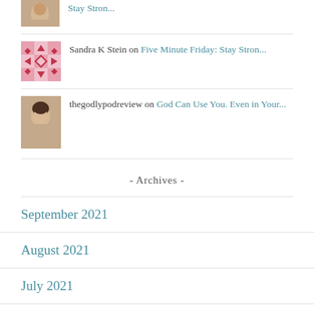Stay Stron...
Sandra K Stein on Five Minute Friday: Stay Stron...
thegodlypodreview on God Can Use You. Even in Your...
- Archives -
September 2021
August 2021
July 2021
June 2021